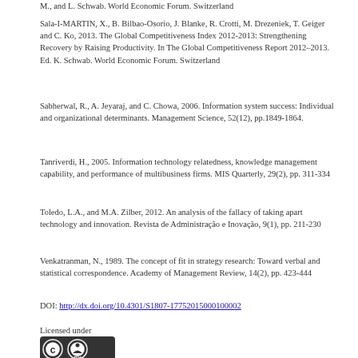M., and L. Schwab. World Economic Forum. Switzerland
Sala-I-MARTIN, X., B. Bilbao-Osorio, J. Blanke, R. Crotti, M. Drezeniek, T. Geiger and C. Ko, 2013. The Global Competitiveness Index 2012-2013: Strengthening Recovery by Raising Productivity. In The Global Competitiveness Report 2012–2013. Ed. K. Schwab. World Economic Forum. Switzerland
Sabherwal, R., A. Jeyaraj, and C. Chowa, 2006. Information system success: Individual and organizational determinants. Management Science, 52(12), pp.1849-1864.
Tanriverdi, H., 2005. Information technology relatedness, knowledge management capability, and performance of multibusiness firms. MIS Quarterly, 29(2), pp. 311-334
Toledo, L.A., and M.A. Zilber, 2012. An analysis of the fallacy of taking apart technology and innovation. Revista de Administração e Inovação, 9(1), pp. 211-230
Venkatranman, N., 1989. The concept of fit in strategy research: Toward verbal and statistical correspondence. Academy of Management Review, 14(2), pp. 423-444
DOI: http://dx.doi.org/10.4301/S1807-17752015000100002
Licensed under
[Figure (logo): Creative Commons Attribution (CC BY) license badge]